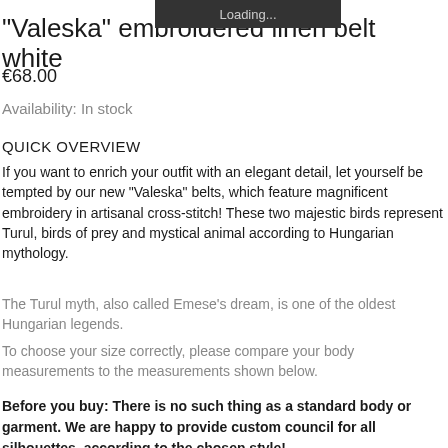[Figure (screenshot): Loading... overlay bar at top of page]
"Valeska" embroidered linen belt white
€68.00
Availability: In stock
QUICK OVERVIEW
If you want to enrich your outfit with an elegant detail, let yourself be tempted by our new "Valeska" belts, which feature magnificent embroidery in artisanal cross-stitch! These two majestic birds represent Turul, birds of prey and mystical animal according to Hungarian mythology.
The Turul myth, also called Emese's dream, is one of the oldest Hungarian legends.
To choose your size correctly, please compare your body measurements to the measurements shown below.
Before you buy: There is no such thing as a standard body or garment. We are happy to provide custom council for all silhouettes, according to the chosen style!